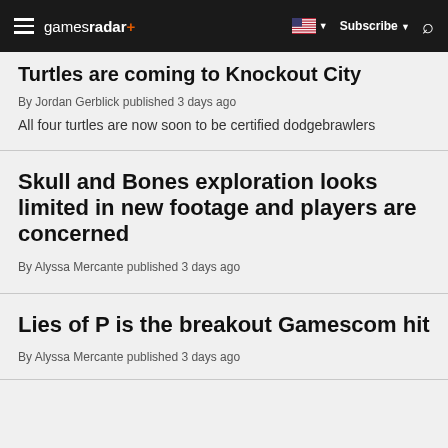gamesradar+ Subscribe
Turtles are coming to Knockout City
By Jordan Gerblick published 3 days ago
All four turtles are now soon to be certified dodgebrawlers
Skull and Bones exploration looks limited in new footage and players are concerned
By Alyssa Mercante published 3 days ago
Lies of P is the breakout Gamescom hit
By Alyssa Mercante published 3 days ago